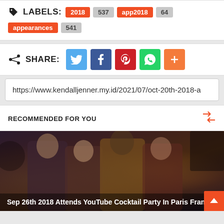LABELS: 2018 537 app2018 64 appearances 541
SHARE: (Twitter, Facebook, Pinterest, WhatsApp, More)
https://www.kendalljenner.my.id/2021/07/oct-20th-2018-a
RECOMMENDED FOR YOU
[Figure (photo): Group photo of four people at a party or event, indoor setting with dark background and lighting equipment visible]
Sep 26th 2018 Attends YouTube Cocktail Party In Paris France